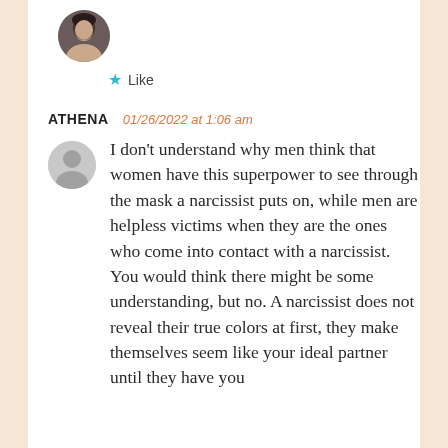[Figure (photo): Circular avatar photo of a dark-haired woman]
★ Like
ATHENA   01/26/2022 at 1:06 am
[Figure (illustration): Generic grey user avatar placeholder circle]
I don't understand why men think that women have this superpower to see through the mask a narcissist puts on, while men are helpless victims when they are the ones who come into contact with a narcissist. You would think there might be some understanding, but no. A narcissist does not reveal their true colors at first, they make themselves seem like your ideal partner until they have you